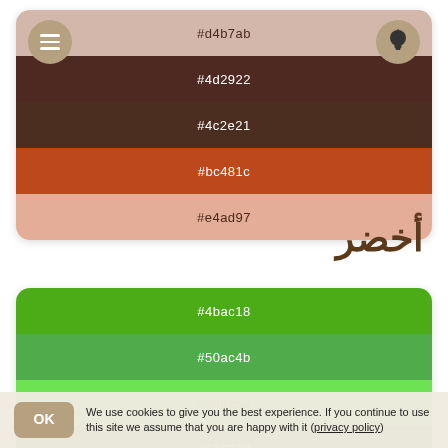[Figure (infographic): Color palette card showing 5 color swatches: #d4b7ab (light pink-brown), #4d2922 (dark brown), #4c2e21 (dark brown), #bc481c (burnt orange), #e4ad97 (light salmon). Menu icon on top-left, lightbulb icon on top-right.]
أخضر
[Figure (infographic): Color palette card showing 5 green color swatches: #4bac18 (medium green), #50ac4b (medium green), #6de252 (bright green), #526728 (dark olive green), #7adb79 (light green).]
We use cookies to give you the best experience. If you continue to use this site we assume that you are happy with it (privacy policy)